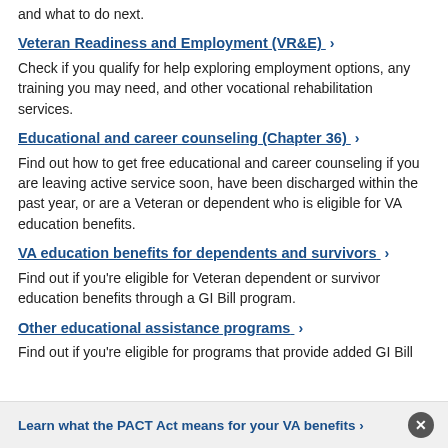and what to do next.
Veteran Readiness and Employment (VR&E) ›
Check if you qualify for help exploring employment options, any training you may need, and other vocational rehabilitation services.
Educational and career counseling (Chapter 36) ›
Find out how to get free educational and career counseling if you are leaving active service soon, have been discharged within the past year, or are a Veteran or dependent who is eligible for VA education benefits.
VA education benefits for dependents and survivors ›
Find out if you're eligible for Veteran dependent or survivor education benefits through a GI Bill program.
Other educational assistance programs ›
Find out if you're eligible for programs that provide added GI Bill
Learn what the PACT Act means for your VA benefits ›